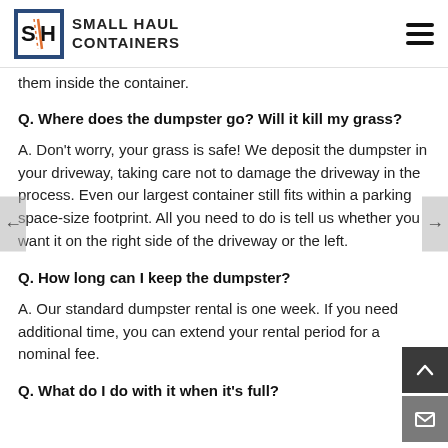SMALL HAUL CONTAINERS
them inside the container.
Q. Where does the dumpster go? Will it kill my grass?
A. Don't worry, your grass is safe! We deposit the dumpster in your driveway, taking care not to damage the driveway in the process. Even our largest container still fits within a parking space-size footprint. All you need to do is tell us whether you want it on the right side of the driveway or the left.
Q. How long can I keep the dumpster?
A. Our standard dumpster rental is one week. If you need additional time, you can extend your rental period for a nominal fee.
Q. What do I do with it when it's full?